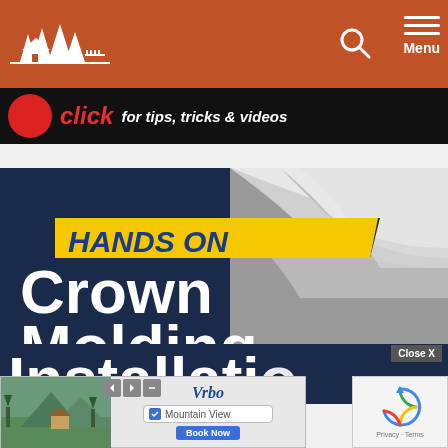[Figure (screenshot): Website header with burnt orange/rust background showing a house and trees logo on the left, a search icon and hamburger menu with 'Menu' label on the right]
[Figure (screenshot): Black banner with red circle icon, bold red italic 'click' text followed by white italic text 'for tips, tricks & videos']
[Figure (screenshot): Feature article image showing 'HANDS ON' label on yellow banner, large white bold text reading 'Crown Molding Installation' on dark blue background with white crown molding photo in corner]
[Figure (screenshot): Vrbo advertisement popup with mountain view booking interface and Close X button overlay, plus reCAPTCHA widget on right]